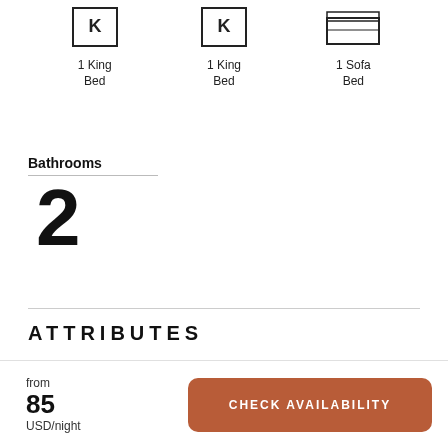[Figure (illustration): Three bed type icons: two King Bed icons (letter K in a square) and one Sofa Bed icon (rectangular sofa/bed shape)]
1 King Bed
1 King Bed
1 Sofa Bed
Bathrooms
2
ATTRIBUTES
from
85
USD/night
CHECK AVAILABILITY